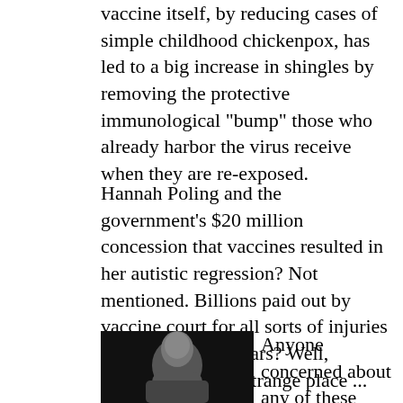vaccine itself, by reducing cases of simple childhood chickenpox, has led to a big increase in shingles by removing the protective immunological "bump" those who already harbor the virus receive when they are re-exposed.
Hannah Poling and the government's $20 million concession that vaccines resulted in her autistic regression? Not mentioned. Billions paid out by vaccine court for all sorts of injuries over the past 20 years? Well, vaccine court is a strange place ...
[Figure (photo): Dark portrait photo of a middle-aged man with short gray hair, wearing a collared shirt, looking slightly to the side with a serious expression.]
Anyone concerned about any of these things fits Offit's definition of anti-